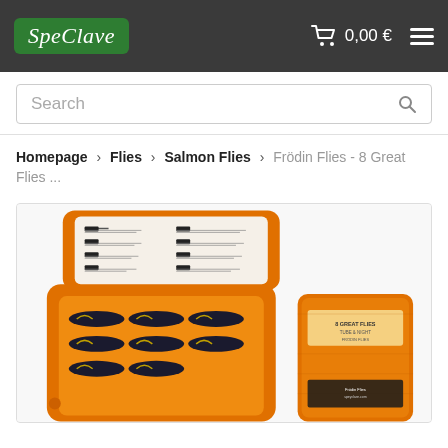SpeClave | 0,00 € | Navigation menu
Search
Homepage > Flies > Salmon Flies > Frödin Flies - 8 Great Flies ...
[Figure (photo): An open orange plastic fly fishing box showing salmon flies arranged inside, with a card insert listing fly names, and a closed orange box shown to the right with text label on side.]